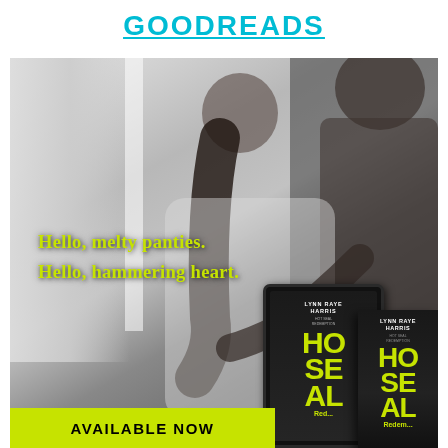GOODREADS
[Figure (photo): Grayscale photo of a romantic couple embracing, woman looking up, man leaning in. Overlaid with yellow-green quote text. Bottom shows book covers/mockups for 'HO SEAL' by Lynn Raye Harris and an 'AVAILABLE NOW' banner.]
Hello, melty panties.
Hello, hammering heart.
AVAILABLE NOW
LYNN RAYE HARRIS
HO SEAL
HO SEAL